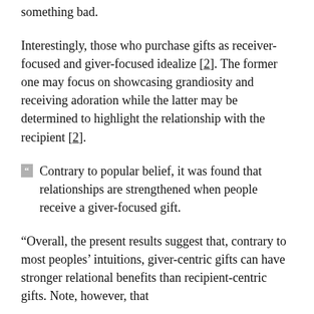something bad.
Interestingly, those who purchase gifts as receiver-focused and giver-focused idealize [2]. The former one may focus on showcasing grandiosity and receiving adoration while the latter may be determined to highlight the relationship with the recipient [2].
Contrary to popular belief, it was found that relationships are strengthened when people receive a giver-focused gift.
“Overall, the present results suggest that, contrary to most peoples’ intuitions, giver-centric gifts can have stronger relational benefits than recipient-centric gifts. Note, however, that